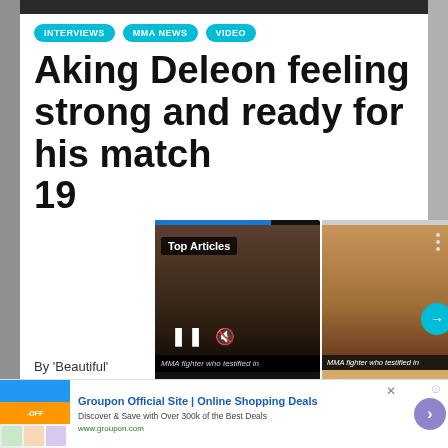INTERVIEWS | MMA NEWS | VIDEO
Aking Deleon feeling strong and ready for his match 19
By 'Beautiful'
[Figure (screenshot): Video overlay popup showing a person's face with 'Top Articles' label, pause and mute controls, and an adjacent card showing a person in formal wear with a navigation arrow]
[Figure (screenshot): Advertisement banner for Groupon Official Site - Online Shopping Deals. Discover and Save with Over 300k of the Best Deals. www.groupon.com]